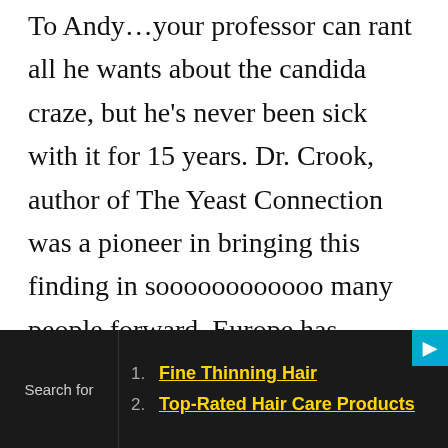To Andy…your professor can rant all he wants about the candida craze, but he's never been sick with it for 15 years. Dr. Crook, author of The Yeast Connection was a pioneer in bringing this finding in soooooooooooo many people forward. Europe has known about it for way over 75 years. The USA, with the pharmaceutical companies as their decision makers lord over the minds of medical schools. Plus everything must be measured by a blood sample. If it is not in a blood samble the lab says it doesn't exist. This causes them to be narrow-minded concerning prevention, and they have no knowledge of nutrition. Countless histories
1. Fine Thinning Hair
2. Top-Rated Hair Care Products